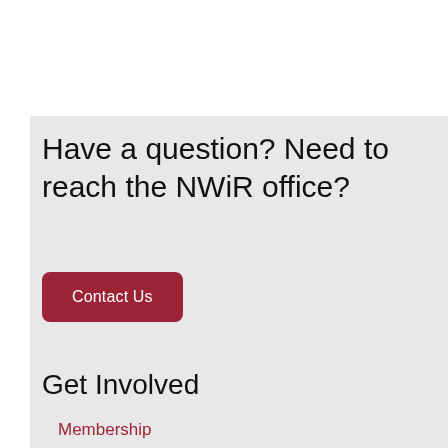Have a question? Need to reach the NWiR office?
Contact Us
Get Involved
Membership
Volunteer